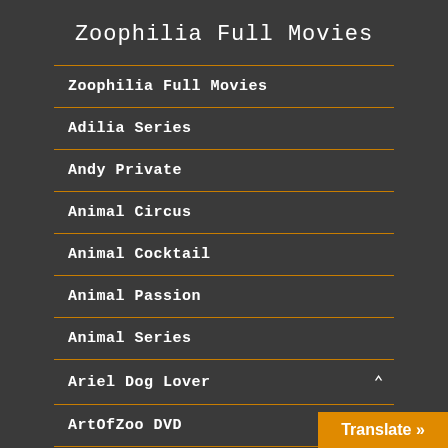Zoophilia Full Movies
Zoophilia Full Movies
Adilia Series
Andy Private
Animal Circus
Animal Cocktail
Animal Passion
Animal Series
Ariel Dog Lover
ArtOfZoo DVD